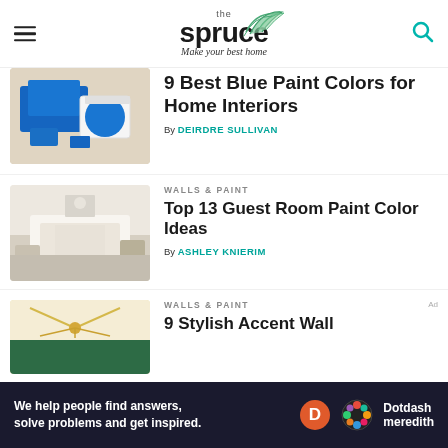the spruce — Make your best home
9 Best Blue Paint Colors for Home Interiors
By DEIRDRE SULLIVAN
WALLS & PAINT
Top 13 Guest Room Paint Color Ideas
By ASHLEY KNIERIM
WALLS & PAINT
9 Stylish Accent Wall
We help people find answers, solve problems and get inspired. Dotdash meredith